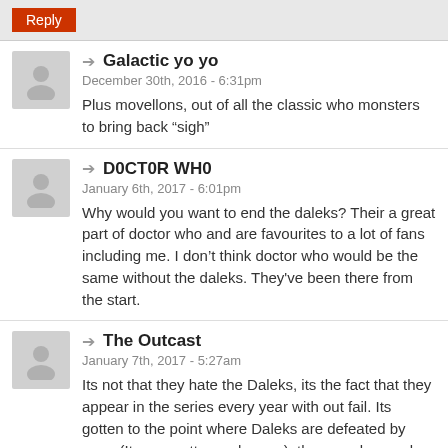Reply
Galactic yo yo
December 30th, 2016 - 6:31pm
Plus movellons, out of all the classic who monsters to bring back “sigh”
D0CT0R WH0
January 6th, 2017 - 6:01pm
Why would you want to end the daleks? Their a great part of doctor who and are favourites to a lot of fans including me. I don’t think doctor who would be the same without the daleks. They've been there from the start.
The Outcast
January 7th, 2017 - 5:27am
Its not that they hate the Daleks, its the fact that they appear in the series every year with out fail. Its gotten to the point where Daleks are defeated by poop (It was pretty much poop), they need a good long rest, so that they can come back better than ever.